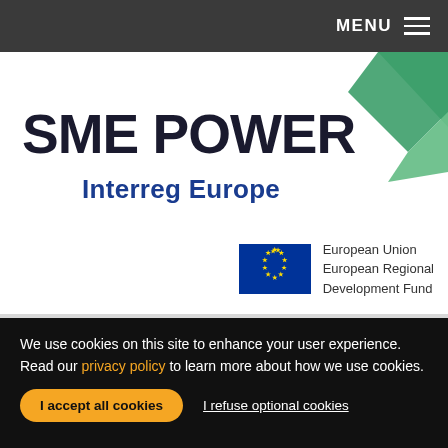MENU
[Figure (logo): SME POWER Interreg Europe logo with green angular shape and EU Regional Development Fund badge]
We use cookies on this site to enhance your user experience. Read our privacy policy to learn more about how we use cookies.
I accept all cookies | I refuse optional cookies